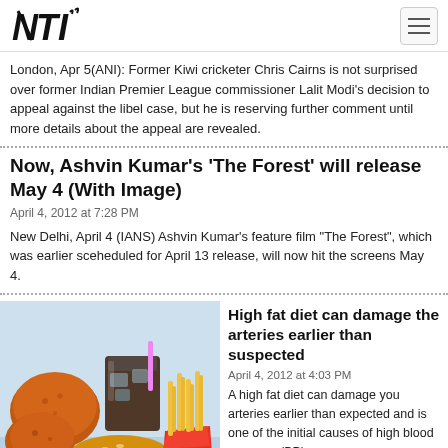NTI logo and navigation
London, Apr 5(ANI): Former Kiwi cricketer Chris Cairns is not surprised over former Indian Premier League commissioner Lalit Modi's decision to appeal against the libel case, but he is reserving further comment until more details about the appeal are revealed.
Now, Ashvin Kumar's 'The Forest' will release May 4 (With Image)
April 4, 2012 at 7:28 PM
New Delhi, April 4 (IANS) Ashvin Kumar's feature film "The Forest", which was earlier sceheduled for April 13 release, will now hit the screens May 4.
[Figure (photo): Photo of fast food items including fried chicken, a hamburger, french fries, and a cola drink on a light blue background]
High fat diet can damage the arteries earlier than suspected
April 4, 2012 at 4:03 PM
A high fat diet can damage you arteries earlier than expected and is one of the initial causes of high blood pressure (BP).